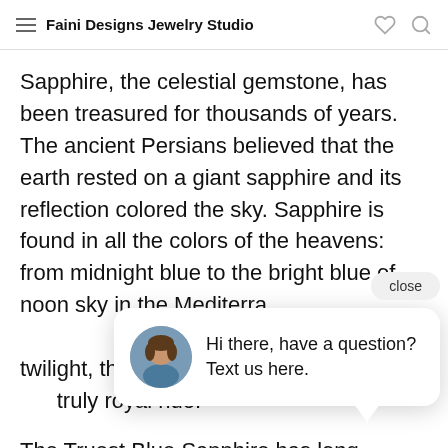Faini Designs Jewelry Studio
Sapphire, the celestial gemstone, has been treasured for thousands of years. The ancient Persians believed that the earth rested on a giant sapphire and its reflection colored the sky. Sapphire is found in all the colors of the heavens: from midnight blue to the bright blue of noon sky in the Mediterra… reddish-o… violet of t… valuable s… truly royal hue.
[Figure (screenshot): Chat popup with avatar and message: Hi there, have a question? Text us here.]
The Truest Blue Sapphire has long symbolized truth, sincerity, and faithfulness.